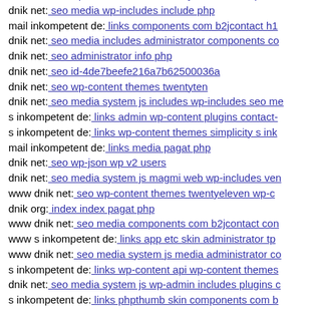dnik net: seo wp-content themes twentyfourteen components (truncated)
dnik net: seo media wp-includes include php
mail inkompetent de: links components com b2jcontact h1 (truncated)
dnik net: seo media includes administrator components co (truncated)
dnik net: seo administrator info php
dnik net: seo id-4de7beefe216a7b62500036a
dnik net: seo wp-content themes twentyten
dnik net: seo media system js includes wp-includes seo me (truncated)
s inkompetent de: links admin wp-content plugins contact- (truncated)
s inkompetent de: links wp-content themes simplicity s ink (truncated)
mail inkompetent de: links media pagat php
dnik net: seo wp-json wp v2 users
dnik net: seo media system js magmi web wp-includes ven (truncated)
www dnik net: seo wp-content themes twentyeleven wp-c (truncated)
dnik org: index index pagat php
www dnik net: seo media components com b2jcontact con (truncated)
www s inkompetent de: links app etc skin administrator tp (truncated)
www dnik net: seo media system js media administrator co (truncated)
s inkompetent de: links wp-content api wp-content themes (truncated)
dnik net: seo media system js wp-admin includes plugins c (truncated)
s inkompetent de: links phpthumb skin components com b (truncated)